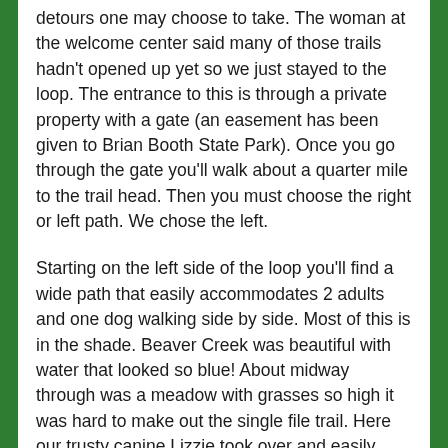detours one may choose to take. The woman at the welcome center said many of those trails hadn't opened up yet so we just stayed to the loop. The entrance to this is through a private property with a gate (an easement has been given to Brian Booth State Park). Once you go through the gate you'll walk about a quarter mile to the trail head. Then you must choose the right or left path. We chose the left.
Starting on the left side of the loop you'll find a wide path that easily accommodates 2 adults and one dog walking side by side. Most of this is in the shade. Beaver Creek was beautiful with water that looked so blue! About midway through was a meadow with grasses so high it was hard to make out the single file trail. Here our trusty canine Lizzie took over and easily navigated us through to the other side.
Once you made it through the meadow the trail...